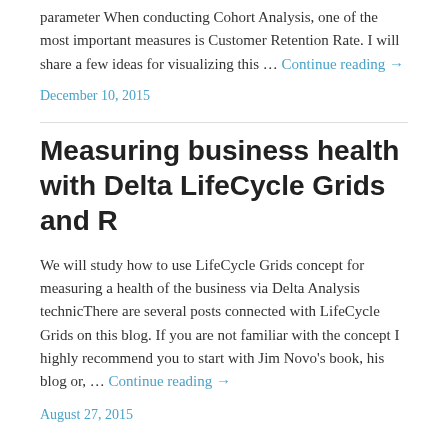parameter When conducting Cohort Analysis, one of the most important measures is Customer Retention Rate. I will share a few ideas for visualizing this … Continue reading →
December 10, 2015
Measuring business health with Delta LifeCycle Grids and R
We will study how to use LifeCycle Grids concept for measuring a health of the business via Delta Analysis technicThere are several posts connected with LifeCycle Grids on this blog. If you are not familiar with the concept I highly recommend you to start with Jim Novo's book, his blog or, … Continue reading →
August 27, 2015